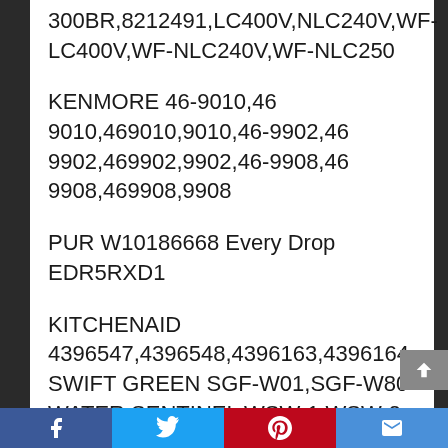300BR,8212491,LC400V,NLC240V,WF-LC400V,WF-NLC240V,WF-NLC250
KENMORE 46-9010,46 9010,469010,9010,46-9902,46 9902,469902,9902,46-9908,46 9908,469908,9908
PUR W10186668 Every Drop EDR5RXD1
KITCHENAID 4396547,4396548,4396163,4396164 SWIFT GREEN SGF-W01,SGF-W80 WATER SENTINEL WSW-1,WSW-2 AQUA FRESH/SUPCO WF285
Facebook Twitter Pinterest Email